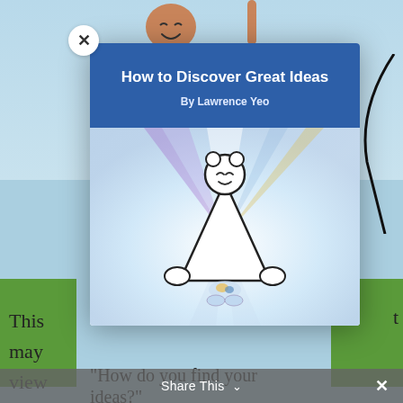[Figure (screenshot): Screenshot of a webpage showing a modal popup for a book titled 'How to Discover Great Ideas' by Lawrence Yeo. The background shows a sky-blue webpage with cartoon characters partially visible. The modal contains the book cover illustration featuring a triangular character with a smiling face, colorful rays of light, and the book title and author in a blue header. Below the modal, partial text reads 'How do you find your ideas?' A gray Share This bar appears at the bottom.]
How to Discover Great Ideas
By Lawrence Yeo
"How do you find your ideas?"
Share This ×